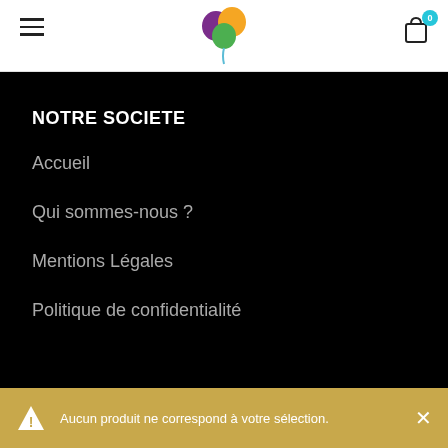≡  [logo]  🛒 0
NOTRE SOCIETE
Accueil
Qui sommes-nous ?
Mentions Légales
Politique de confidentialité
Aucun produit ne correspond à votre sélection.